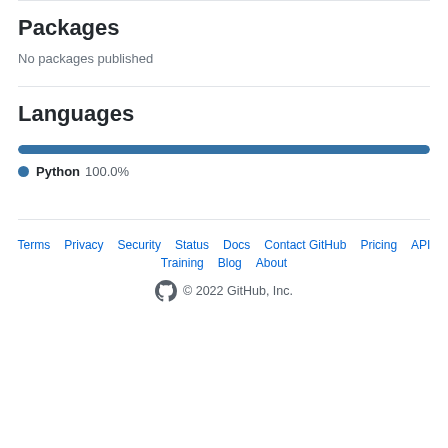Packages
No packages published
Languages
[Figure (bar-chart): Languages]
Python 100.0%
Terms  Privacy  Security  Status  Docs  Contact GitHub  Pricing  API  Training  Blog  About  © 2022 GitHub, Inc.